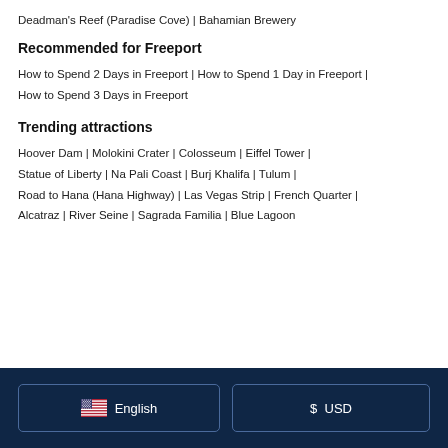Deadman's Reef (Paradise Cove) | Bahamian Brewery
Recommended for Freeport
How to Spend 2 Days in Freeport | How to Spend 1 Day in Freeport | How to Spend 3 Days in Freeport
Trending attractions
Hoover Dam | Molokini Crater | Colosseum | Eiffel Tower | Statue of Liberty | Na Pali Coast | Burj Khalifa | Tulum | Road to Hana (Hana Highway) | Las Vegas Strip | French Quarter | Alcatraz | River Seine | Sagrada Familia | Blue Lagoon
English  USD